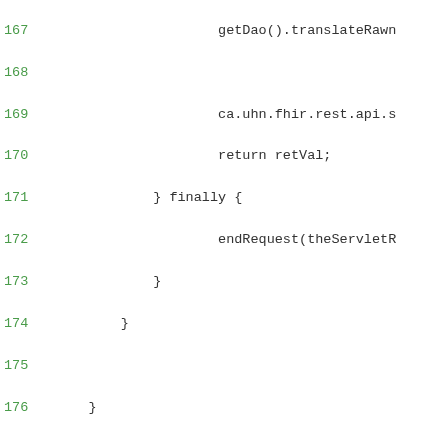167    getDao().translateRawn
168
169                ca.uhn.fhir.rest.api.s
170                return retVal;
171            } finally {
172                endRequest(theServletR
173            }
174        }
175
176    }